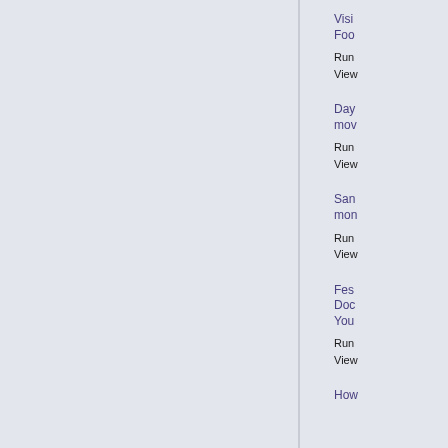Visi
Foo
Run
View
Day
mov
Run
View
San
mon
Run
View
Fes
Doc
You
Run
View
How